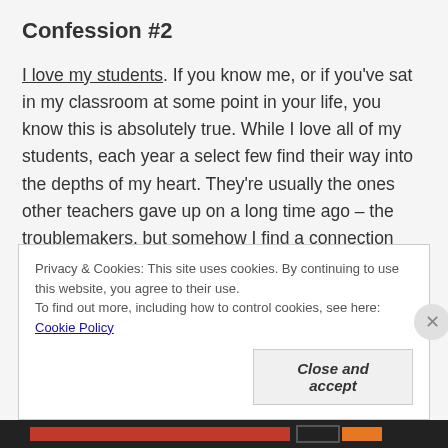Confession #2
I love my students.  If you know me, or if you've sat in my classroom at some point in your life, you know this is absolutely true.   While I love all of my students, each year a select few find their way into the depths of my heart.  They're usually the ones other teachers gave up on a long time ago – the troublemakers, but somehow I find a connection with them.  God has blessed me with the privilege of seeing lives change before my very eyes.  It makes me wonder how anyone can question if God is
Privacy & Cookies: This site uses cookies. By continuing to use this website, you agree to their use.
To find out more, including how to control cookies, see here: Cookie Policy
Close and accept